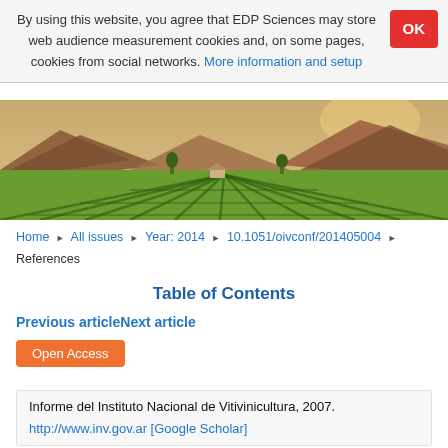By using this website, you agree that EDP Sciences may store web audience measurement cookies and, on some pages, cookies from social networks. More information and setup
[Figure (photo): Aerial view of a vineyard with green rows of vines and mountains in the background under a warm sky]
Home ▶ All issues ▶ Year: 2014 ▶ 10.1051/oivconf/201405004 ▶ References
Table of Contents
Previous articleNext article
Open Access
Informe del Instituto Nacional de Vitivinicultura, 2007. http://www.inv.gov.ar [Google Scholar]